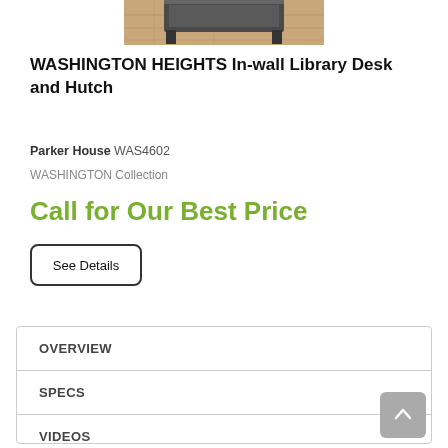[Figure (photo): Partial product photo of a Washington Heights In-wall Library Desk and Hutch furniture piece, cropped at top]
WASHINGTON HEIGHTS In-wall Library Desk and Hutch
Parker House WAS4602
WASHINGTON Collection
Call for Our Best Price
See Details
OVERVIEW
SPECS
VIDEOS